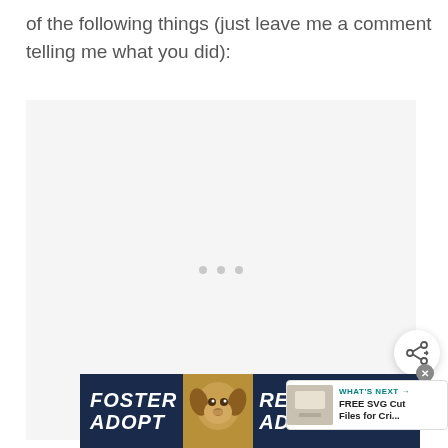of the following things (just leave me a comment telling me what you did):
[Figure (other): Large light gray placeholder image area with three small gray dots in the center, indicating loading content. A circular share button with a share icon is overlaid at lower right. A 'WHAT'S NEXT' panel shows thumbnail and text 'FREE SVG Cut Files for Cri...']
[Figure (other): Advertisement banner with dark navy background showing 'FOSTER ADOPT' on the left, a beagle dog photo in center, and 'RESCUE ADVOCATE' on the right in large bold italic white text. A close button (X) is visible. WW logo appears to the right.]